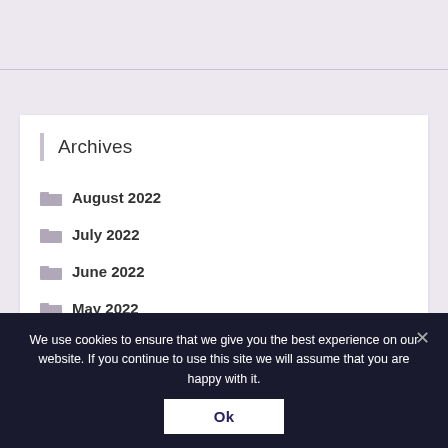Archives
August 2022
July 2022
June 2022
May 2022
April 2022
We use cookies to ensure that we give you the best experience on our website. If you continue to use this site we will assume that you are happy with it.